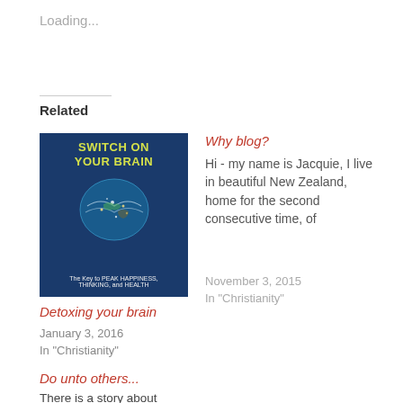Loading...
Related
[Figure (illustration): Book cover for 'Switch On Your Brain' showing a glowing brain illustration with text 'The Key to PEAK HAPPINESS, THINKING, and HEALTH']
Detoxing your brain
January 3, 2016
In "Christianity"
Do unto others...
There is a story about a man named Harris
Why blog?
Hi - my name is Jacquie, I live in beautiful New Zealand, home for the second consecutive time, of
November 3, 2015
In "Christianity"